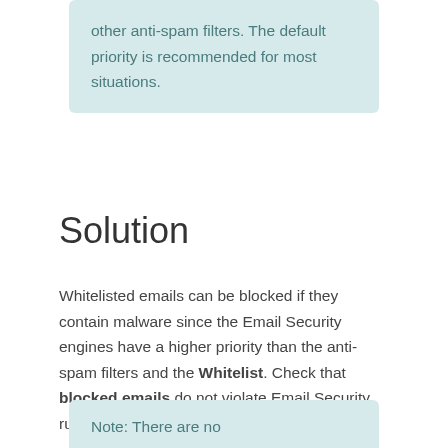other anti-spam filters. The default priority is recommended for most situations.
Solution
Whitelisted emails can be blocked if they contain malware since the Email Security engines have a higher priority than the anti-spam filters and the Whitelist. Check that blocked emails do not violate Email Security rules.
Note: There are no